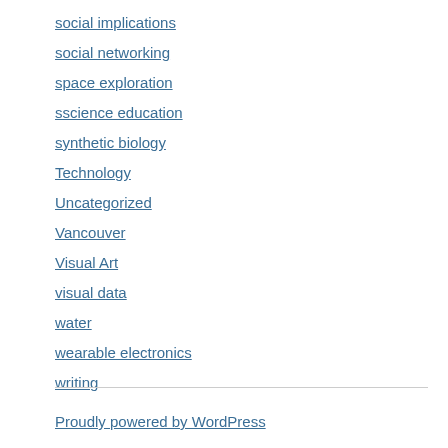social implications
social networking
space exploration
sscience education
synthetic biology
Technology
Uncategorized
Vancouver
Visual Art
visual data
water
wearable electronics
writing
Proudly powered by WordPress